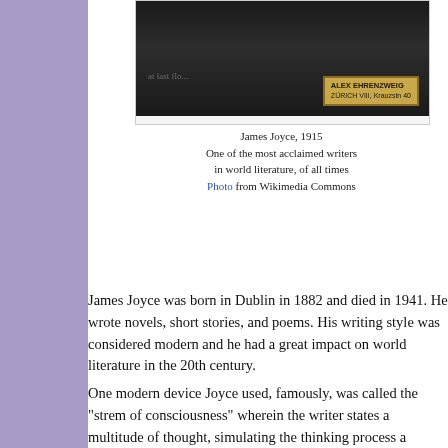[Figure (photo): Black and white photograph of James Joyce, 1915, with a stamp reading ALEX EHRENZWEIG ZURICH VIII, Krauzstn 40]
James Joyce, 1915
One of the most acclaimed writers
in world literature, of all times
Photo from Wikimedia Commons
James Joyce was born in Dublin in 1882 and died in 1941. He wrote novels, short stories, and poems. His writing style was considered modern and he had a great impact on world literature in the 20th century.
One modern device Joyce used, famously, was called the "stream of consciousness" wherein the writer states a multitude of thoughts, simulating the thinking process a person might have in real life with many thoughts occurring simultaneously.
He is famous for several works including Dubliners, A Portrait of the Artist as a Young Man, and Finnegan's Wake. Joyce was taught by the Christian Brothers and the Jesuits; and he studied at University College Dublin.
His writings became famous and were extremely progressive in a literary sense. Joyce usually focused on life in Dublin; but he spent much of his